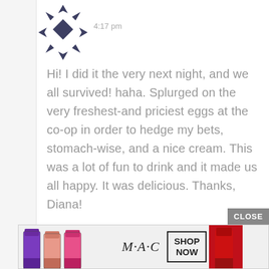[Figure (logo): Geometric snowflake/diamond pattern avatar icon in dark navy blue, made of triangles and diamond shapes]
4:17 pm
Hi! I did it the very next night, and we all survived! haha. Splurged on the very freshest-and priciest eggs at the co-op in order to hedge my bets, stomach-wise, and a nice cream. This was a lot of fun to drink and it made us all happy. It was delicious. Thanks, Diana!
[Figure (screenshot): MAC cosmetics advertisement banner showing colorful lipsticks (purple, peach, pink), MAC logo in italic script, SHOP NOW button in bordered box, and red lipstick on right side]